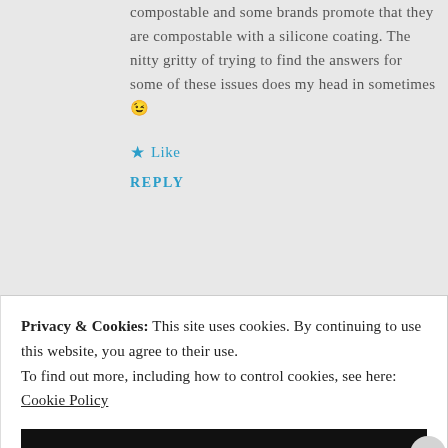compostable and some brands promote that they are compostable with a silicone coating. The nitty gritty of trying to find the answers for some of these issues does my head in sometimes 😉
★ Like
REPLY
Privacy & Cookies: This site uses cookies. By continuing to use this website, you agree to their use. To find out more, including how to control cookies, see here: Cookie Policy
CLOSE AND ACCEPT